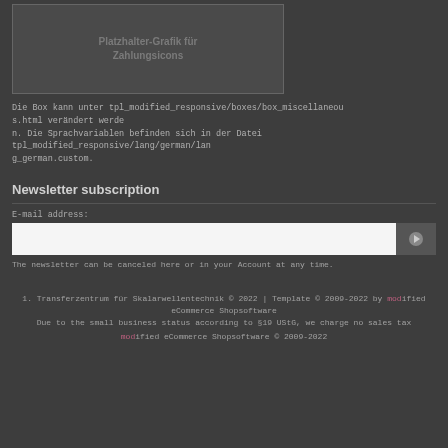[Figure (other): Placeholder graphic box with text 'Platzhalter-Grafik für Zahlungsicons' in gray on dark background]
Die Box kann unter tpl_modified_responsive/boxes/box_miscellaneous.html verändert werden. Die Sprachvariablen befinden sich in der Datei tpl_modified_responsive/lang/german/lang_german.custom.
Newsletter subscription
E-mail address:
[Figure (other): Email input field with submit button (arrow icon)]
The newsletter can be canceled here or in your Account at any time.
1. Transferzentrum für Skalarwellentechnik © 2022 | Template © 2009-2022 by modified eCommerce Shopsoftware
Due to the small business status according to §19 UStG, we charge no sales tax
modified eCommerce Shopsoftware © 2009-2022